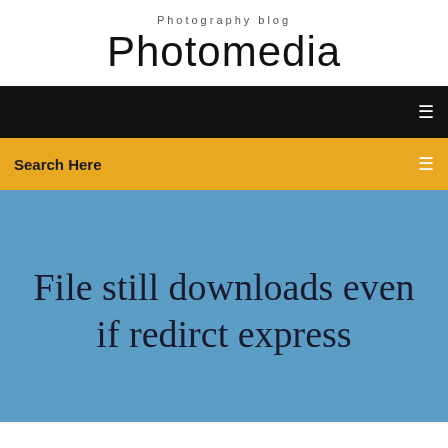Photography blog
Photomedia
[Figure (screenshot): Black navigation bar with hamburger menu icon on the right]
Search Here
File still downloads even if redirct express